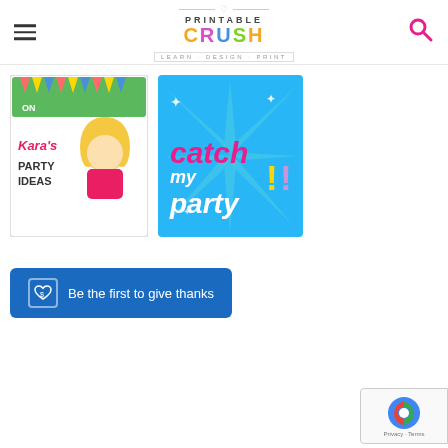Printable Crush - Learn · Design · Print
[Figure (illustration): Kara's Party Ideas blog banner with cartoon blonde woman and colorful bunting]
[Figure (illustration): Catch My Party logo on blue starburst background]
Be the first to give thanks